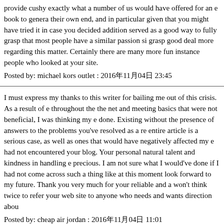provide cushy exactly what a number of us would have offered for an e book to generate their own end, and in particular given that you might have tried it in case you decided addition served as a good way to fully grasp that most people have a similar passion si grasp good deal more regarding this matter. Certainly there are many more fun instances people who looked at your site.
Posted by: michael kors outlet : 2016年11月04日 23:45
I must express my thanks to this writer for bailing me out of this crisis. As a result of e throughout the the net and meeting basics that were not beneficial, I was thinking my e done. Existing without the presence of answers to the problems you've resolved as a re entire article is a serious case, as well as ones that would have negatively affected my e had not encountered your blog. Your personal natural talent and kindness in handling e precious. I am not sure what I would've done if I had not come across such a thing like at this moment look forward to my future. Thank you very much for your reliable and a won't think twice to refer your web site to anyone who needs and wants direction abou
Posted by: cheap air jordan : 2016年11月04日 11:01
I wanted to put you this bit of note to help say thank you as before for your awesome b shown on this website. It is quite surprisingly generous with you to deliver openly all a would have marketed for an e book to generate some money for their own end, particu you could have done it in the event you decided. The inspiring ideas in addition worke good way to be certain that most people have the identical desire like my own to under more in respect of this problem. I'm certain there are some more pleasurable times up f